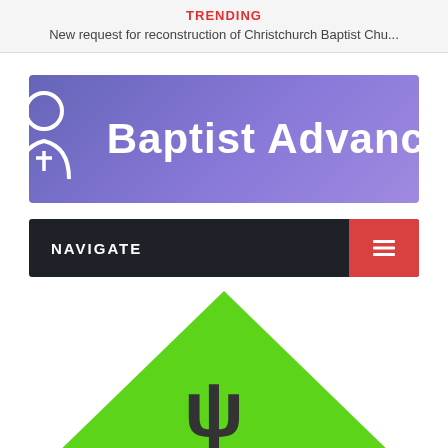TRENDING
New request for reconstruction of Christchurch Baptist Chu...
[Figure (logo): Baptist Advance logo banner: purple/blue gradient background with a person icon (figure with cross on chest) and white text 'Baptist Advance']
NAVIGATE
[Figure (photo): Partial view of a bright green triangular/arrow shape with a dark symbol on it, cropped at the bottom of the page]